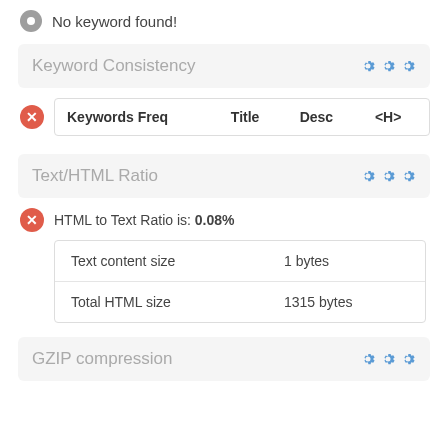No keyword found!
Keyword Consistency
| Keywords Freq | Title | Desc | <H> |
| --- | --- | --- | --- |
Text/HTML Ratio
HTML to Text Ratio is: 0.08%
|  |  |
| --- | --- |
| Text content size | 1 bytes |
| Total HTML size | 1315 bytes |
GZIP compression